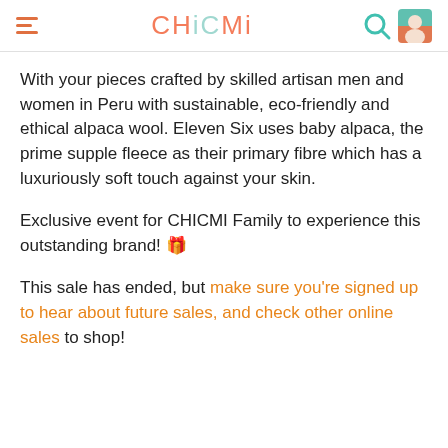CHICMI
With your pieces crafted by skilled artisan men and women in Peru with sustainable, eco-friendly and ethical alpaca wool. Eleven Six uses baby alpaca, the prime supple fleece as their primary fibre which has a luxuriously soft touch against your skin.
Exclusive event for CHICMI Family to experience this outstanding brand! 🎉
This sale has ended, but make sure you're signed up to hear about future sales, and check other online sales to shop!